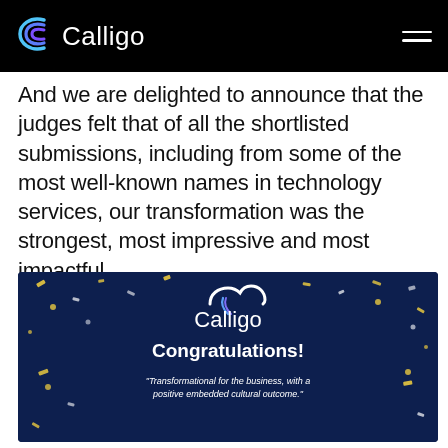Calligo
And we are delighted to announce that the judges felt that of all the shortlisted submissions, including from some of the most well-known names in technology services, our transformation was the strongest, most impressive and most impactful.
[Figure (illustration): Calligo congratulations banner on dark navy background with confetti. Shows Calligo logo with cloud icon, text 'Congratulations!' and quote 'Transformational for the business, with a positive embedded cultural outcome.']